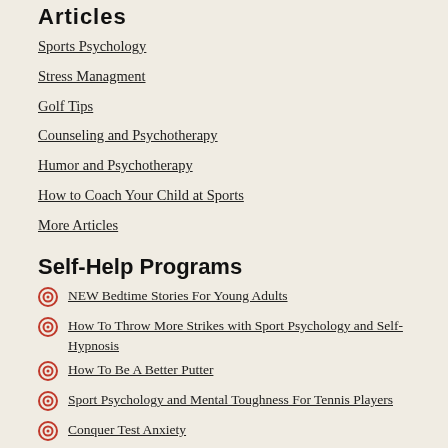Articles
Sports Psychology
Stress Managment
Golf Tips
Counseling and Psychotherapy
Humor and Psychotherapy
How to Coach Your Child at Sports
More Articles
Self-Help Programs
NEW Bedtime Stories For Young Adults
How To Throw More Strikes with Sport Psychology and Self-Hypnosis
How To Be A Better Putter
Sport Psychology and Mental Toughness For Tennis Players
Conquer Test Anxiety